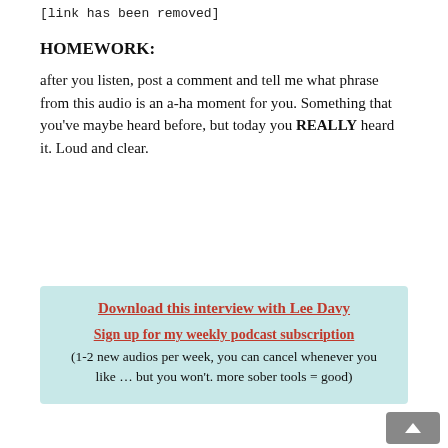[link has been removed]
HOMEWORK:
after you listen, post a comment and tell me what phrase from this audio is an a-ha moment for you. Something that you've maybe heard before, but today you REALLY heard it. Loud and clear.
Download this interview with Lee Davy
Sign up for my weekly podcast subscription
(1-2 new audios per week, you can cancel whenever you like … but you won't. more sober tools = good)